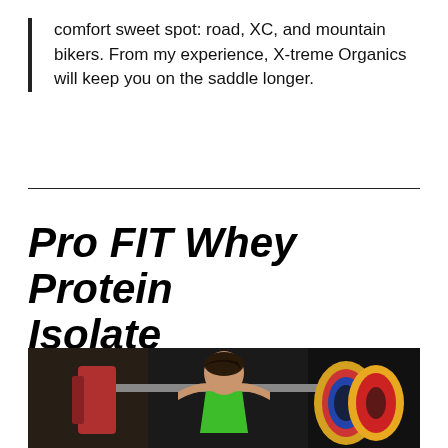comfort sweet spot: road, XC, and mountain bikers. From my experience, X-treme Organics will keep you on the saddle longer.
Pro FIT Whey Protein Isolate
[Figure (photo): A woman athlete in a green top performing a barbell squat in a dark gym setting, with colorful weight plates on the barbell.]